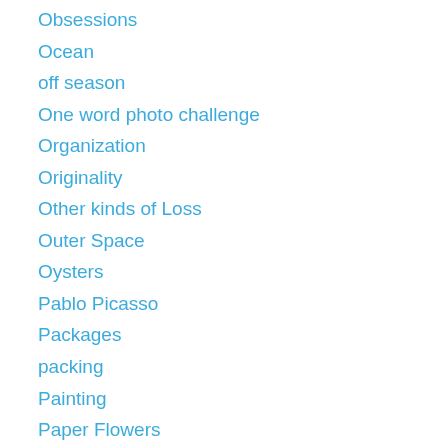Obsessions
Ocean
off season
One word photo challenge
Organization
Originality
Other kinds of Loss
Outer Space
Oysters
Pablo Picasso
Packages
packing
Painting
Paper Flowers
Parenting
Parody
Parties
Partners
peace
PERU